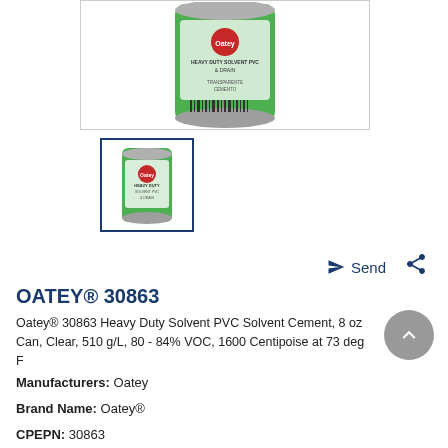[Figure (photo): Top portion of a green Oatey PVC solvent cement can (Heavy Duty, 8oz), showing the top label with text 'TRANSPARENTE CEMENTO...' on a white background, cropped at top.]
[Figure (photo): Thumbnail image of the same Oatey PVC solvent cement can, full view, green label, in a bordered thumbnail frame.]
OATEY® 30863
Oatey® 30863 Heavy Duty Solvent PVC Solvent Cement, 8 oz Can, Clear, 510 g/L, 80 - 84% VOC, 1600 Centipoise at 73 deg F
Manufacturers: Oatey
Brand Name: Oatey®
CPEPN: 30863